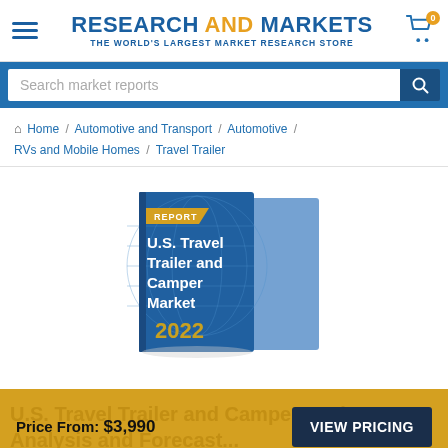RESEARCH AND MARKETS — THE WORLD'S LARGEST MARKET RESEARCH STORE
Search market reports
Home / Automotive and Transport / Automotive / RVs and Mobile Homes / Travel Trailer
[Figure (photo): Book cover for 'U.S. Travel Trailer and Camper Market 2022' report, showing a blue book with globe graphic and gold 'REPORT' label]
Price From: $3,990
VIEW PRICING